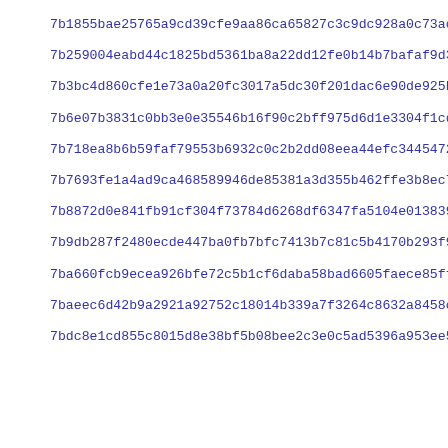7b1855bae25765a9cd39cfe9aa86ca65827c3c9dc928a0c73ac2d532d9be0...
7b259004eabd44c1825bd5361ba8a22dd12fe0b14b7bafaf9d32597026830...
7b3bc4d860cfe1e73a0a20fc3017a5dc30f201dac6e90de925b2c5f232e1a...
7b6e07b3831c0bb3e0e35546b16f90c2bff975d6d1e3304f1cd40cb71d7e8...
7b718ea8b6b59faf79553b6932c0c2b2dd08eea44efc344547244a59fb82c...
7b7693fe1a4ad9ca468589946de85381a3d355b462ffe3b8ec720b5296c18...
7b8872d0e841fb91cf304f73784d6268df6347fa5104e013839319f2c022d...
7b9db287f2480ecde447ba0fb7bfc7413b7c81c5b4170b293f9121455a179...
7ba660fcb9ecea926bfe72c5b1cf6daba58bad6605faece85fff4e3feeb8e...
7baeec6d42b9a2921a92752c18014b339a7f3264c8632a8458ce31b91eca4...
7bdc8e1cd855c8015d8e38bf5b08bee2c3e0c5ad5396a953ee52bfac2e678...